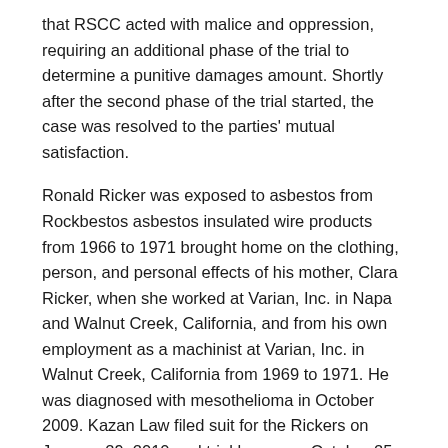that RSCC acted with malice and oppression, requiring an additional phase of the trial to determine a punitive damages amount. Shortly after the second phase of the trial started, the case was resolved to the parties' mutual satisfaction.
Ronald Ricker was exposed to asbestos from Rockbestos asbestos insulated wire products from 1966 to 1971 brought home on the clothing, person, and personal effects of his mother, Clara Ricker, when she worked at Varian, Inc. in Napa and Walnut Creek, California, and from his own employment as a machinist at Varian, Inc. in Walnut Creek, California from 1969 to 1971. He was diagnosed with mesothelioma in October 2009. Kazan Law filed suit for the Rickers on January 29, 2010 and trial began on October 25, 2010.
Evidence at trial showed that cutting and stripping RSCC's Rockbestos asbestos insulated wire products released dangerous levels of asbestos dust and that it